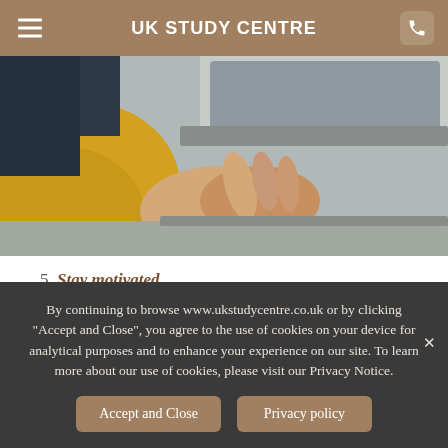UK STUDY CENTRE
[Figure (photo): Person in yellow sweater working on a laptop, close-up of hands on keyboard]
5. Stay motivated
Student motivation to continue studying hard and achieving high academic results at the end of the year can be strengthened by organising regular check-ins with their
By continuing to browse www.ukstudycentre.co.uk or by clicking "Accept and Close", you agree to the use of cookies on your device for analytical purposes and to enhance your experience on our site. To learn more about our use of cookies, please visit our Privacy Notice.